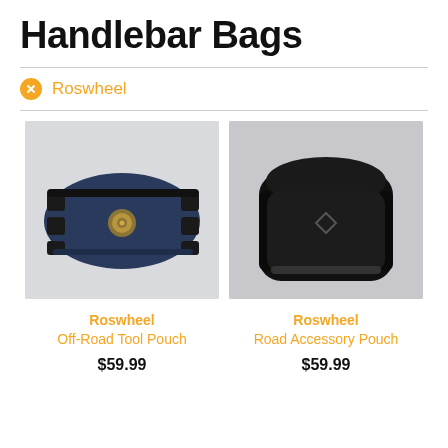Handlebar Bags
Roswheel
[Figure (photo): Roswheel Off-Road Tool Pouch - navy blue handlebar bag with black mounting straps and gold logo]
Roswheel
Off-Road Tool Pouch
$59.99
[Figure (photo): Roswheel Road Accessory Pouch - black handlebar bag on light gray background]
Roswheel
Road Accessory Pouch
$59.99